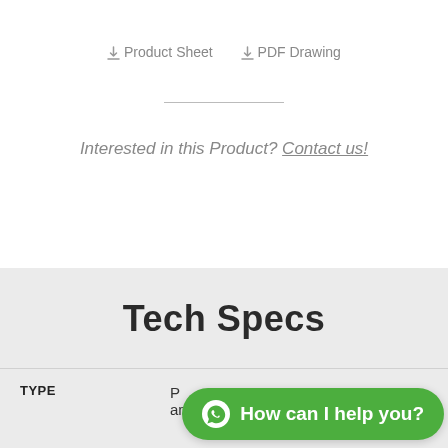⬇ Product Sheet   ⬇ PDF Drawing
Interested in this Product? Contact us!
Tech Specs
| TYPE |  |
| --- | --- |
| TYPE | P... amplifier |